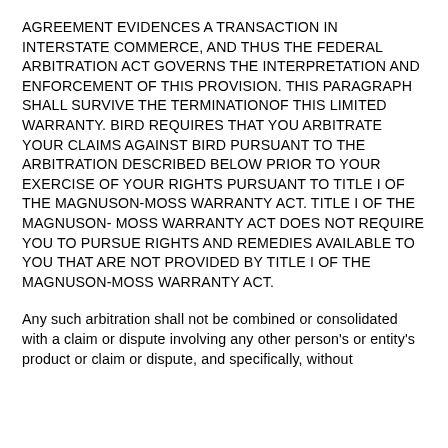AGREEMENT EVIDENCES A TRANSACTION IN INTERSTATE COMMERCE, AND THUS THE FEDERAL ARBITRATION ACT GOVERNS THE INTERPRETATION AND ENFORCEMENT OF THIS PROVISION. THIS PARAGRAPH SHALL SURVIVE THE TERMINATIONOF THIS LIMITED WARRANTY. BIRD REQUIRES THAT YOU ARBITRATE YOUR CLAIMS AGAINST BIRD PURSUANT TO THE ARBITRATION DESCRIBED BELOW PRIOR TO YOUR EXERCISE OF YOUR RIGHTS PURSUANT TO TITLE I OF THE MAGNUSON-MOSS WARRANTY ACT. TITLE I OF THE MAGNUSON- MOSS WARRANTY ACT DOES NOT REQUIRE YOU TO PURSUE RIGHTS AND REMEDIES AVAILABLE TO YOU THAT ARE NOT PROVIDED BY TITLE I OF THE MAGNUSON-MOSS WARRANTY ACT.
Any such arbitration shall not be combined or consolidated with a claim or dispute involving any other person's or entity's product or claim or dispute, and specifically, without